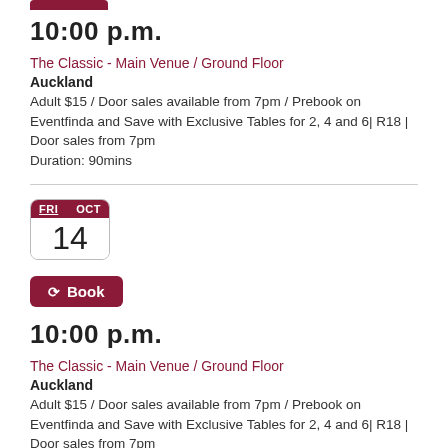[Figure (other): Dark red top stub of a calendar icon (partially visible at top of page)]
10:00 p.m.
The Classic - Main Venue / Ground Floor
Auckland
Adult $15 / Door sales available from 7pm / Prebook on Eventfinda and Save with Exclusive Tables for 2, 4 and 6| R18 | Door sales from 7pm
Duration: 90mins
[Figure (other): Calendar icon showing FRI OCT 14]
[Figure (other): Book button with icon]
10:00 p.m.
The Classic - Main Venue / Ground Floor
Auckland
Adult $15 / Door sales available from 7pm / Prebook on Eventfinda and Save with Exclusive Tables for 2, 4 and 6| R18 | Door sales from 7pm
Duration: 90mins
[Figure (other): Partial calendar icon showing FRI OCT (bottom cut off)]